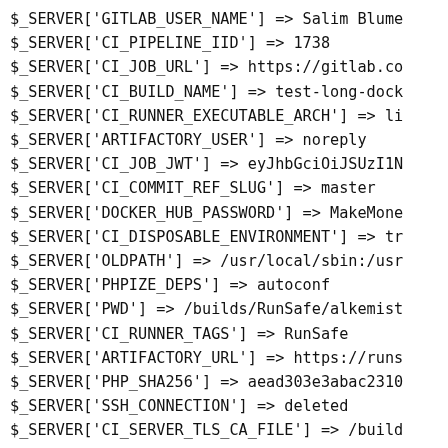$_SERVER['GITLAB_USER_NAME'] => Salim Blume
$_SERVER['CI_PIPELINE_IID'] => 1738
$_SERVER['CI_JOB_URL'] => https://gitlab.co
$_SERVER['CI_BUILD_NAME'] => test-long-dock
$_SERVER['CI_RUNNER_EXECUTABLE_ARCH'] => li
$_SERVER['ARTIFACTORY_USER'] => noreply
$_SERVER['CI_JOB_JWT'] => eyJhbGciOiJSUzI1N
$_SERVER['CI_COMMIT_REF_SLUG'] => master
$_SERVER['DOCKER_HUB_PASSWORD'] => MakeMone
$_SERVER['CI_DISPOSABLE_ENVIRONMENT'] => tr
$_SERVER['OLDPATH'] => /usr/local/sbin:/usr
$_SERVER['PHPIZE_DEPS'] => autoconf
$_SERVER['PWD'] => /builds/RunSafe/alkemist
$_SERVER['CI_RUNNER_TAGS'] => RunSafe
$_SERVER['ARTIFACTORY_URL'] => https://runs
$_SERVER['PHP_SHA256'] => aead303e3abac2310
$_SERVER['SSH_CONNECTION'] => deleted
$_SERVER['CI_SERVER_TLS_CA_FILE'] => /build
$_SERVER['CI_PIPELINE_ID'] => 236711257